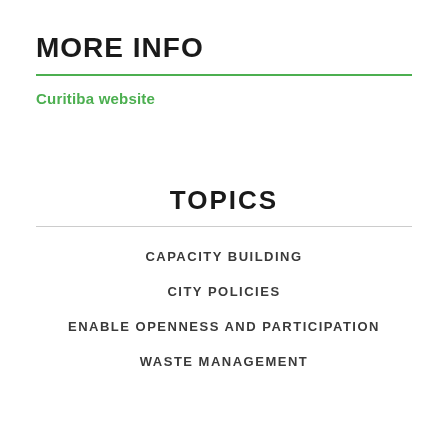MORE INFO
Curitiba website
TOPICS
CAPACITY BUILDING
CITY POLICIES
ENABLE OPENNESS AND PARTICIPATION
WASTE MANAGEMENT